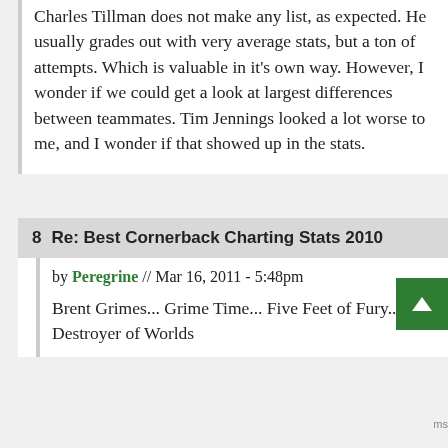Charles Tillman does not make any list, as expected. He usually grades out with very average stats, but a ton of attempts. Which is valuable in it's own way. However, I wonder if we could get a look at largest differences between teammates. Tim Jennings looked a lot worse to me, and I wonder if that showed up in the stats.
8  Re: Best Cornerback Charting Stats 2010
by Peregrine // Mar 16, 2011 - 5:48pm
Brent Grimes... Grime Time... Five Feet of Fury... Destroyer of Worlds